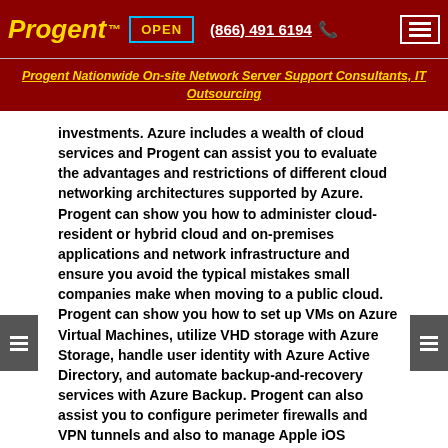Progent ™  OPEN  (866) 491 6194  [menu]
Progent Nationwide On-site Network Server Support Consultants, IT Outsourcing
investments. Azure includes a wealth of cloud services and Progent can assist you to evaluate the advantages and restrictions of different cloud networking architectures supported by Azure. Progent can show you how to administer cloud-resident or hybrid cloud and on-premises applications and network infrastructure and ensure you avoid the typical mistakes small companies make when moving to a public cloud. Progent can show you how to set up VMs on Azure Virtual Machines, utilize VHD storage with Azure Storage, handle user identity with Azure Active Directory, and automate backup-and-recovery services with Azure Backup. Progent can also assist you to configure perimeter firewalls and VPN tunnels and also to manage Apple iOS devices and Android smartphones and tablets.
Sioux Falls Staffing Support Services Minnehaha County South Dakota Sioux Falls IT Staffing Support Services